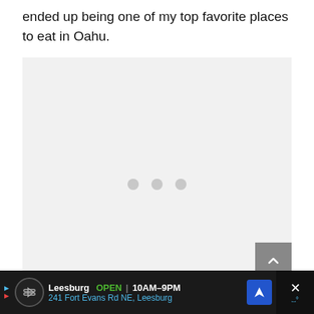ended up being one of my top favorite places to eat in Oahu.
[Figure (photo): Loading placeholder with three grey dots centered on light grey background, with a grey scroll-to-top button in bottom right corner]
[Figure (screenshot): Advertisement bar: Leesburg OPEN 10AM–9PM, 241 Fort Evans Rd NE, Leesburg, with navigation icon and close button]